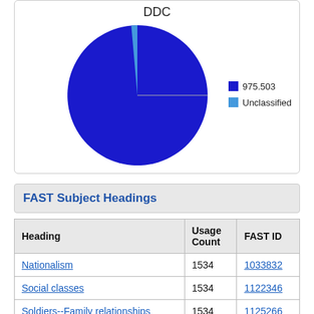[Figure (pie-chart): DDC]
FAST Subject Headings
| Heading | Usage Count | FAST ID |
| --- | --- | --- |
| Nationalism | 1534 | 1033832 |
| Social classes | 1534 | 1122346 |
| Soldiers--Family relationships | 1534 | 1125266 |